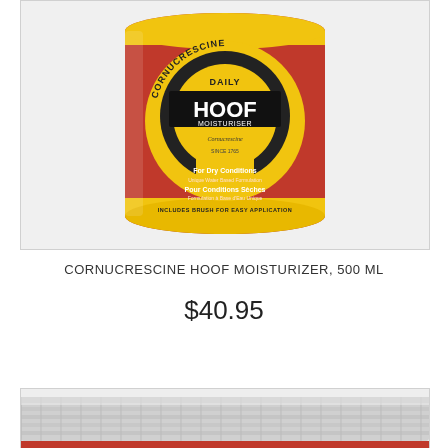[Figure (photo): Red cylindrical tin of Cornucrescine Daily Hoof Moisturiser 500ml with yellow horseshoe logo and label details including 'For Dry Conditions', 'Unique Water Based Formulation', 'Pour Conditions Sèches', 'Includes Brush For Easy Application']
CORNUCRESCINE HOOF MOISTURIZER, 500 ML
$40.95
[Figure (photo): Partial view of a silver/grey ribbed lid or container bottom, cropped at page edge]